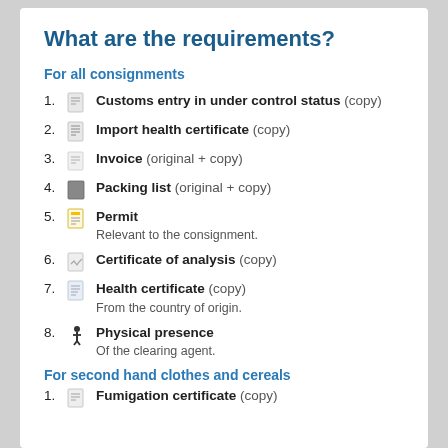What are the requirements?
For all consignments
Customs entry in under control status (copy)
Import health certificate (copy)
Invoice (original + copy)
Packing list (original + copy)
Permit — Relevant to the consignment.
Certificate of analysis (copy)
Health certificate (copy) — From the country of origin.
Physical presence — Of the clearing agent.
For second hand clothes and cereals
Fumigation certificate (copy)